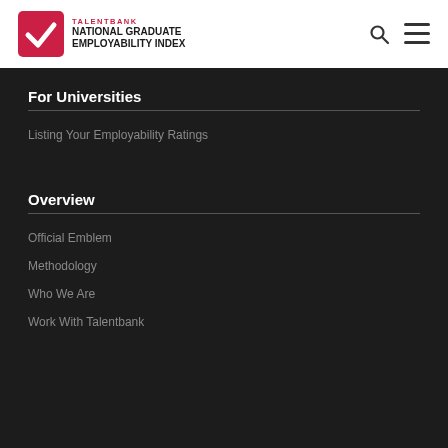[Figure (logo): TalentBank National Graduate Employability Index logo with checkmark icon in red square and text]
For Universities
Listing Your Employability Ratings
Overview
Official Emblem
Methodology
Who We Are
Work With Talentbank